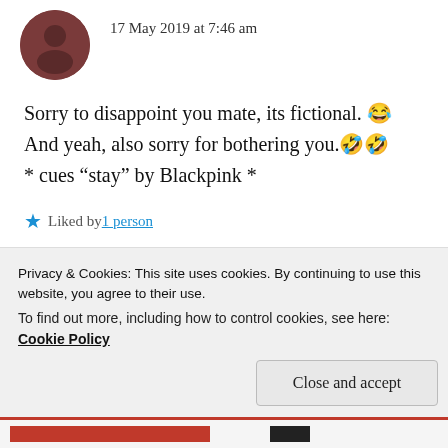17 May 2019 at 7:46 am
Sorry to disappoint you mate, its fictional. 😂 And yeah, also sorry for bothering you.🤣🤣 * cues “stay” by Blackpink *
★ Liked by 1 person
REPLY
SID
Privacy & Cookies: This site uses cookies. By continuing to use this website, you agree to their use. To find out more, including how to control cookies, see here: Cookie Policy
Close and accept